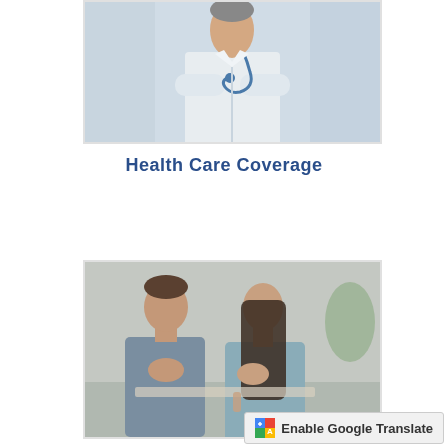[Figure (photo): Doctor in white coat with stethoscope, arms crossed, standing in medical setting]
Health Care Coverage
[Figure (photo): Concerned couple sitting together looking at documents, man and woman with hands near mouths]
Enable Google Translate